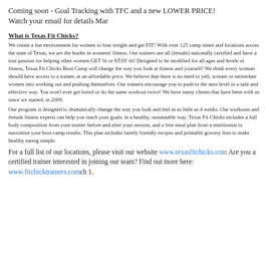Coming soon - Goal Tracking with TFC and a new LOWER PRICE! Watch your email for details Mar
What is Texas Fit Chicks?
We create a fun environment for women to lose weight and get FIT! With over 125 camp times and locations across the state of Texas, we are the leader in womens' fitness. Our trainers are all (female) nationally certified and have a true passion for helping other women GET fit or STAY fit! Designed to be modified for all ages and levels of fitness, Texas Fit Chicks Boot Camp will change the way you look at fitness and yourself! We think every woman should have access to a trainer, at an affordable price. We believe that there is no need to yell, scream or intimidate women into working out and pushing themselves. Our trainers encourage you to push to the next level in a safe and effective way. You won't ever get bored or do the same workout twice! We have many clients that have been with us since we started, in 2009.
Our program is designed to dramatically change the way you look and feel in as little as 4 weeks. Our workouts and female fitness experts can help you reach your goals, in a healthy, sustainable way. Texas Fit Chicks includes a full body composition from your trainer before and after your session, and a free meal plan from a nutritionist to maximize your boot camp results. This plan includes family friendly recipes and printable grocery lists to make healthy eating simple.
For a full list of our locations, please visit our website www.texasfitchicks.com Are you a certified trainer interested in joining our team? Find out more here: www.fitchicktrainers.comch 1.